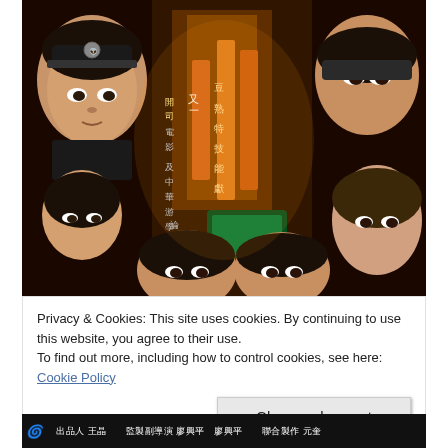[Figure (photo): Movie poster featuring multiple Asian actors. Top left: young man in police/military cap. Top right: older man. Center: neon-lit Hong Kong street signs with Chinese characters. Bottom: several young actors including women and men. Dark, dramatic composition.]
Privacy & Cookies: This site uses cookies. By continuing to use this website, you agree to their use.
To find out more, including how to control cookies, see here: Cookie Policy
Close and accept
出品人 王晶   監製副導演 廖興平   聯合製作 元奎